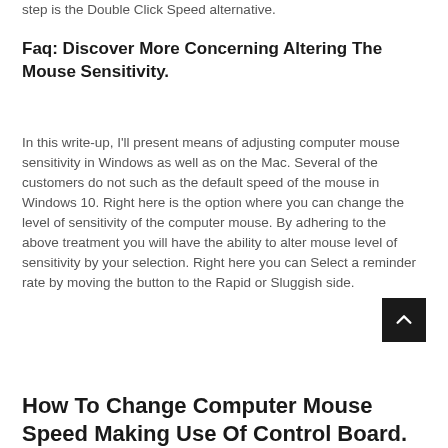step is the Double Click Speed alternative.
Faq: Discover More Concerning Altering The Mouse Sensitivity.
In this write-up, I'll present means of adjusting computer mouse sensitivity in Windows as well as on the Mac. Several of the customers do not such as the default speed of the mouse in Windows 10. Right here is the option where you can change the level of sensitivity of the computer mouse. By adhering to the above treatment you will have the ability to alter mouse level of sensitivity by your selection. Right here you can Select a reminder rate by moving the button to the Rapid or Sluggish side.
How To Change Computer Mouse Speed Making Use Of Control Board.